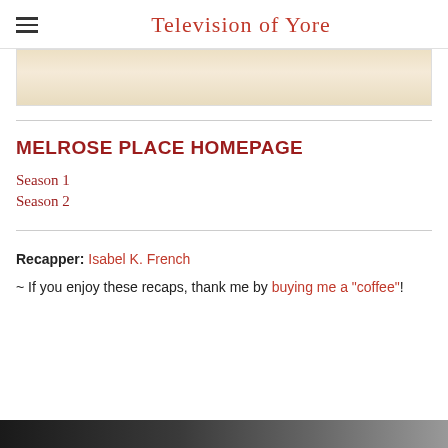Television of Yore
[Figure (photo): Partial image showing a beige/cream textured fabric or sandy surface, cropped at top of page below the header navigation]
MELROSE PLACE HOMEPAGE
Season 1
Season 2
Recapper: Isabel K. French
~ If you enjoy these recaps, thank me by buying me a "coffee"!
[Figure (photo): Bottom strip of a dark image, partially visible at the bottom of the page]